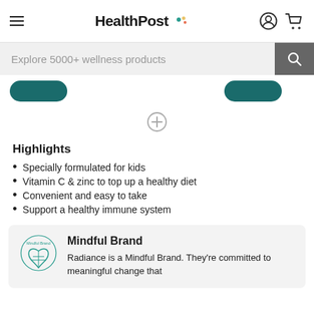HealthPost
[Figure (screenshot): Search bar with placeholder text 'Explore 5000+ wellness products' and a dark search button with magnifying glass icon]
[Figure (other): Two teal pill-shaped buttons and a plus/add circle icon below]
Highlights
Specially formulated for kids
Vitamin C & zinc to top up a healthy diet
Convenient and easy to take
Support a healthy immune system
Mindful Brand
Radiance is a Mindful Brand. They're committed to meaningful change that